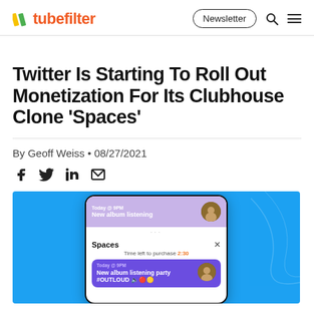tubefilter | Newsletter
Twitter Is Starting To Roll Out Monetization For Its Clubhouse Clone ‘Spaces’
By Geoff Weiss • 08/27/2021
[Figure (screenshot): Twitter Spaces monetization screenshot showing a phone UI with a purple card for 'New album listening party #OUTLOUD' and a Spaces purchase modal with a 2:30 countdown timer, set against a bright blue background.]